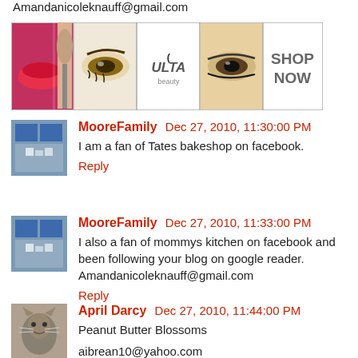Amandanicoleknauff@gmail.com
[Figure (other): Ulta Beauty advertisement banner with makeup images and SHOP NOW text]
MooreFamily  Dec 27, 2010, 11:30:00 PM
I am a fan of Tates bakeshop on facebook.
Reply
MooreFamily  Dec 27, 2010, 11:33:00 PM
I also a fan of mommys kitchen on facebook and been following your blog on google reader.
Amandanicoleknauff@gmail.com
Reply
April Darcy  Dec 27, 2010, 11:44:00 PM
Peanut Butter Blossoms
aibrean10@yahoo.com